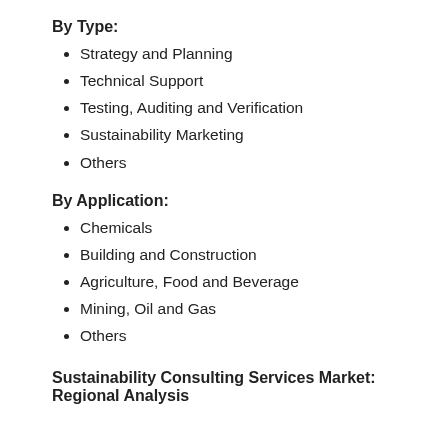By Type:
Strategy and Planning
Technical Support
Testing, Auditing and Verification
Sustainability Marketing
Others
By Application:
Chemicals
Building and Construction
Agriculture, Food and Beverage
Mining, Oil and Gas
Others
Sustainability Consulting Services Market: Regional Analysis